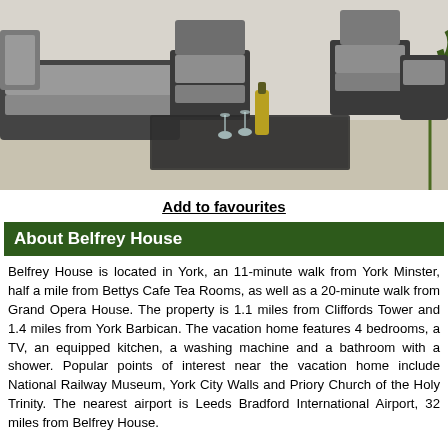[Figure (photo): Outdoor patio with dark wicker/rattan furniture including chairs and a sofa with grey cushions, a glass coffee table with champagne glasses and a bottle, on a light stone terrace]
Add to favourites
About Belfrey House
Belfrey House is located in York, an 11-minute walk from York Minster, half a mile from Bettys Cafe Tea Rooms, as well as a 20-minute walk from Grand Opera House. The property is 1.1 miles from Cliffords Tower and 1.4 miles from York Barbican. The vacation home features 4 bedrooms, a TV, an equipped kitchen, a washing machine and a bathroom with a shower. Popular points of interest near the vacation home include National Railway Museum, York City Walls and Priory Church of the Holy Trinity. The nearest airport is Leeds Bradford International Airport, 32 miles from Belfrey House.
Book online   Add photos